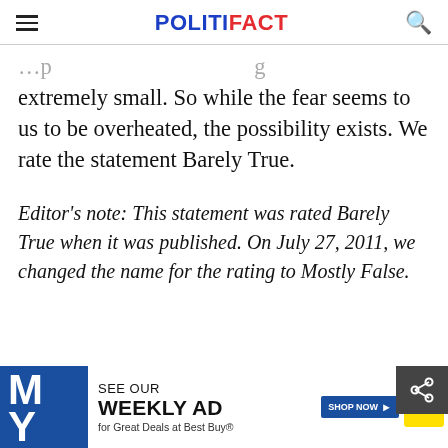POLITIFACT
extremely small. So while the fear seems to us to be overheated, the possibility exists. We rate the statement Barely True.
Editor's note: This statement was rated Barely True when it was published. On July 27, 2011, we changed the name for the rating to Mostly False.
[Figure (screenshot): Best Buy advertisement banner: 'SEE OUR WEEKLY AD for Great Deals at Best Buy®' with SHOP NOW button and Best Buy logo]